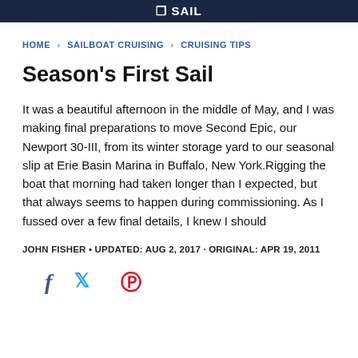SAIL
HOME > SAILBOAT CRUISING > CRUISING TIPS
Season's First Sail
It was a beautiful afternoon in the middle of May, and I was making final preparations to move Second Epic, our Newport 30-III, from its winter storage yard to our seasonal slip at Erie Basin Marina in Buffalo, New York.Rigging the boat that morning had taken longer than I expected, but that always seems to happen during commissioning. As I fussed over a few final details, I knew I should
JOHN FISHER • UPDATED: AUG 2, 2017 · ORIGINAL: APR 19, 2011
[Figure (other): Social media share icons: Facebook (f), Twitter (bird), Pinterest (P)]